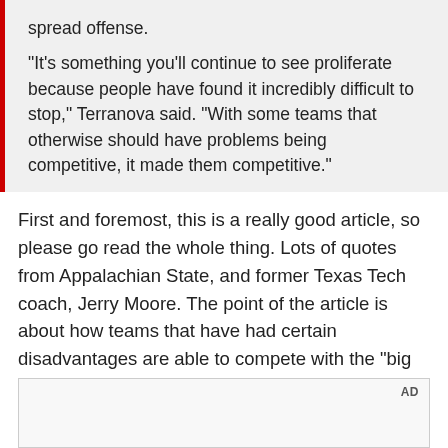spread offense.
"It's something you'll continue to see proliferate because people have found it incredibly difficult to stop," Terranova said. "With some teams that otherwise should have problems being competitive, it made them competitive."
First and foremost, this is a really good article, so please go read the whole thing. Lots of quotes from Appalachian State, and former Texas Tech coach, Jerry Moore. The point of the article is about how teams that have had certain disadvantages are able to compete with the "big boys" of college football.
[Figure (other): Advertisement box placeholder labeled AD]